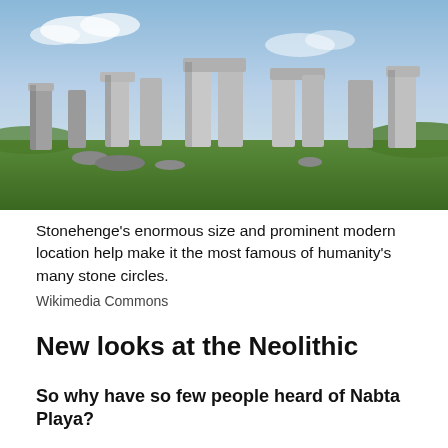[Figure (photo): Photograph of Stonehenge showing large standing stones in a circular arrangement on green grass under a partly cloudy sky.]
Stonehenge’s enormous size and prominent modern location help make it the most famous of humanity’s many stone circles.
Wikimedia Commons
New looks at the Neolithic
So why have so few people heard of Nabta Playa?